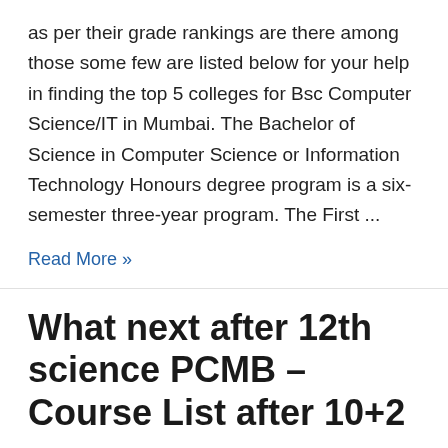as per their grade rankings are there among those some few are listed below for your help in finding the top 5 colleges for Bsc Computer Science/IT in Mumbai. The Bachelor of Science in Computer Science or Information Technology Honours degree program is a six-semester three-year program. The First ...
Read More »
What next after 12th science PCMB – Course List after 10+2
2 Comments / HSC Maharashtra board 2020, HSC Maharashtra board 2021, Latest Exam Updates, MSBSHSE / By apadhi / June 7, 2021
Actually many students face a hurdle after completing